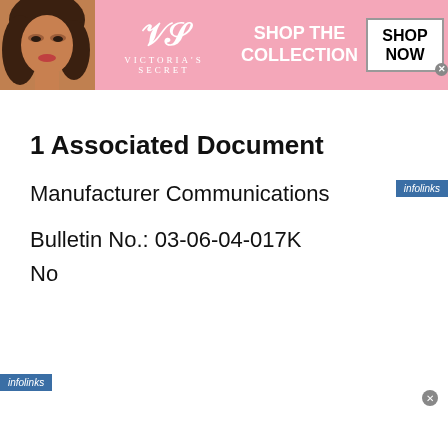[Figure (screenshot): Victoria's Secret advertisement banner with pink background, model photo, VS logo, 'SHOP THE COLLECTION' text, and 'SHOP NOW' button]
[Figure (screenshot): Infolinks badge in blue]
1 Associated Document
Manufacturer Communications
Bulletin No.: 03-06-04-017K
[Figure (screenshot): Infolinks badge bottom left and Sam's Club advertisement banner with 'Get all the perks with Plus' headline]